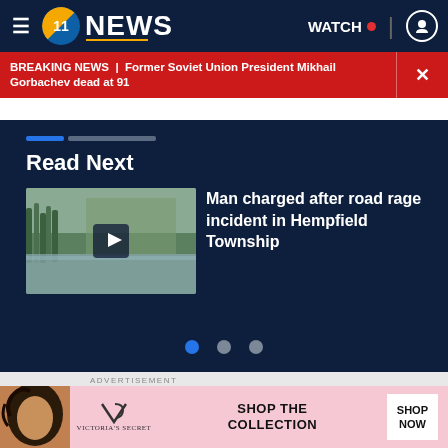WPXI 11 NEWS | WATCH
BREAKING NEWS | Former Soviet Union President Mikhail Gorbachev dead at 91
Read Next
[Figure (photo): Thumbnail of flooded area with play button overlay]
Man charged after road rage incident in Hempfield Township
ADVERTISEMENT
[Figure (photo): Victoria's Secret advertisement banner with woman and perfume bottles]
[Figure (photo): Victoria's Secret SHOP THE COLLECTION ad at bottom]